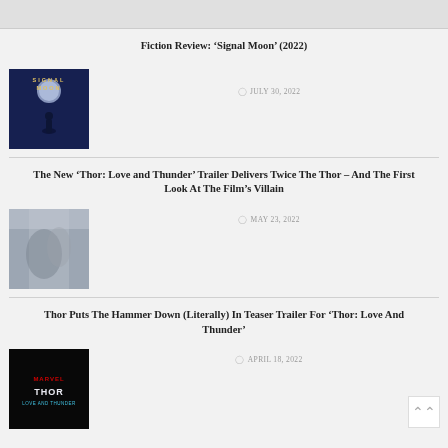[Figure (other): Top grey bar / partial header]
Fiction Review: ‘Signal Moon’ (2022)
[Figure (photo): Signal Moon book cover - dark blue with figure and moon]
JULY 30, 2022
The New ‘Thor: Love and Thunder’ Trailer Delivers Twice The Thor – And The First Look At The Film’s Villain
[Figure (photo): Thor movie still - grey wintery scene with figure]
MAY 23, 2022
Thor Puts The Hammer Down (Literally) In Teaser Trailer For ‘Thor: Love And Thunder’
[Figure (photo): Thor: Love and Thunder movie logo on dark background]
APRIL 18, 2022